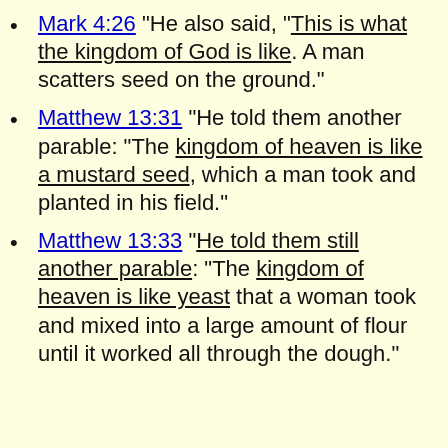Mark 4:26 "He also said, "This is what the kingdom of God is like. A man scatters seed on the ground."
Matthew 13:31 "He told them another parable: "The kingdom of heaven is like a mustard seed, which a man took and planted in his field."
Matthew 13:33 "He told them still another parable: "The kingdom of heaven is like yeast that a woman took and mixed into a large amount of flour until it worked all through the dough."